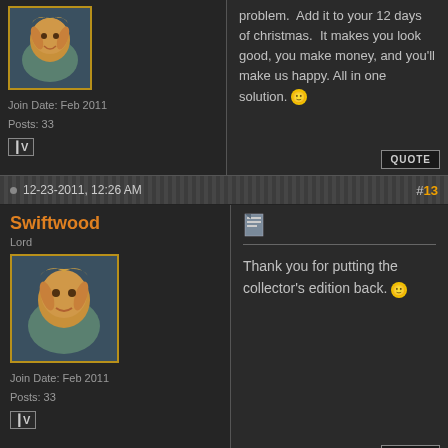problem. Add it to your 12 days of christmas. It makes you look good, you make money, and you'll make us happy. All in one solution. 🙂
Join Date: Feb 2011
Posts: 33
#13
12-23-2011, 12:26 AM
Swiftwood
Lord
Join Date: Feb 2011
Posts: 33
Thank you for putting the collector's edition back. 🙂
12-27-2011, 11:30 AM
quiarrah